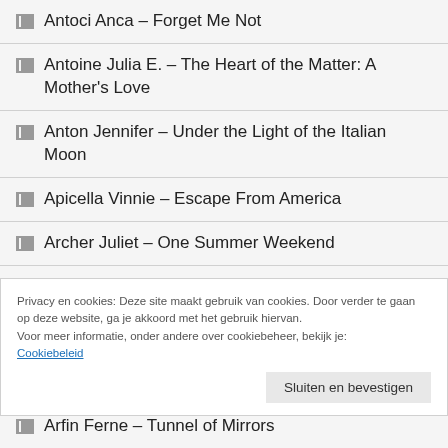Antoci Anca – Forget Me Not
Antoine Julia E. – The Heart of the Matter: A Mother's Love
Anton Jennifer – Under the Light of the Italian Moon
Apicella Vinnie – Escape From America
Archer Juliet – One Summer Weekend
Archibald Robert – Guilty Until Proven Innocent
Privacy en cookies: Deze site maakt gebruik van cookies. Door verder te gaan op deze website, ga je akkoord met het gebruik hiervan. Voor meer informatie, onder andere over cookiebeheer, bekijk je: Cookiebeleid
Arfin Ferne – Tunnel of Mirrors